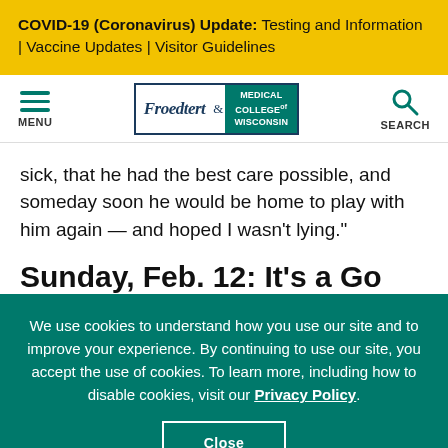COVID-19 (Coronavirus) Update: Testing and Information | Vaccine Updates | Visitor Guidelines
[Figure (logo): Froedtert & Medical College of Wisconsin logo with navigation menu icon and search icon]
sick, that he had the best care possible, and someday soon he would be home to play with him again — and hoped I wasn't lying."
Sunday, Feb. 12: It's a Go
We use cookies to understand how you use our site and to improve your experience. By continuing to use our site, you accept the use of cookies. To learn more, including how to disable cookies, visit our Privacy Policy.